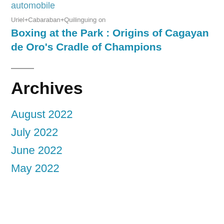automobile
Uriel+Cabaraban+Quilinguing on
Boxing at the Park : Origins of Cagayan de Oro's Cradle of Champions
Archives
August 2022
July 2022
June 2022
May 2022